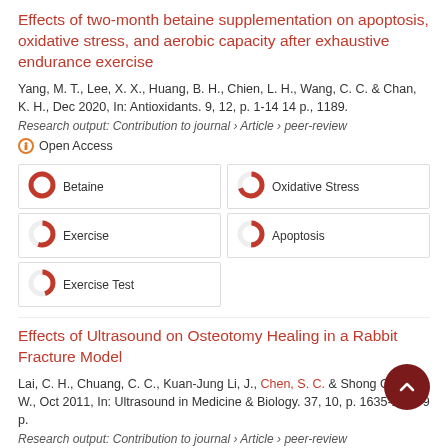Effects of two-month betaine supplementation on apoptosis, oxidative stress, and aerobic capacity after exhaustive endurance exercise
Yang, M. T., Lee, X. X., Huang, B. H., Chien, L. H., Wang, C. C. & Chan, K. H., Dec 2020, In: Antioxidants. 9, 12, p. 1-14 14 p., 1189.
Research output: Contribution to journal › Article › peer-review
Open Access
[Figure (infographic): Keyword badges with donut-style percentage indicators: Betaine ~100%, Oxidative Stress ~70%, Exercise ~55%, Apoptosis ~50%, Exercise Test ~45%]
Effects of Ultrasound on Osteotomy Healing in a Rabbit Fracture Model
Lai, C. H., Chuang, C. C., Kuan-Jung Li, J., Chen, S. C. & Shong Chang, W., Oct 2011, In: Ultrasound in Medicine & Biology. 37, 10, p. 1635-1643 9 p.
Research output: Contribution to journal › Article › peer-review